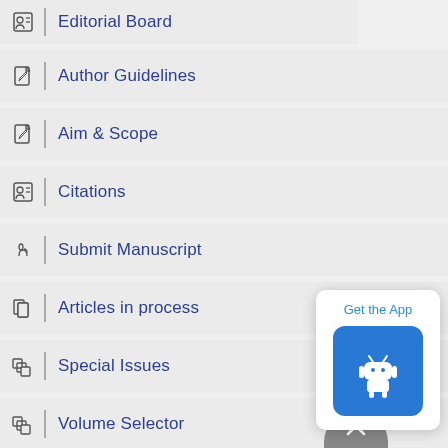Editorial Board
Author Guidelines
Aim & Scope
Citations
Submit Manuscript
Articles in process
Special Issues
Volume Selector
Indexing Services
[Figure (screenshot): Get the App popup with Android icon button]